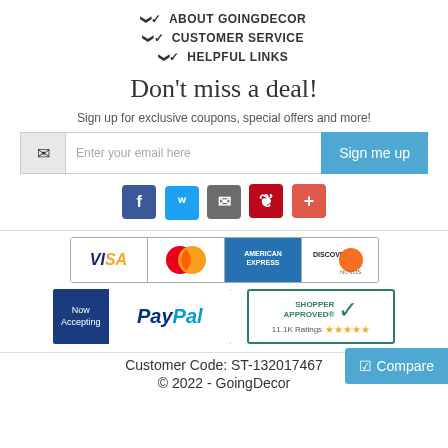✔ ABOUT GOINGDECOR
✔ CUSTOMER SERVICE
✔ HELPFUL LINKS
Don't miss a deal!
Sign up for exclusive coupons, special offers and more!
[Figure (screenshot): Email signup form with envelope icon, placeholder text 'Enter your email here', and 'Sign me up' blue button]
[Figure (infographic): Social media icons: Facebook, Twitter, Google+, Pinterest, plus icon]
[Figure (infographic): Payment cards: VISA, MasterCard, American Express, Discover]
[Figure (logo): Now Accepting PayPal logo and Shopper Approved 11.1K Ratings 5 stars badge]
[Figure (infographic): Compare button (blue, top-right)]
Customer Code: ST-132017467
© 2022 - GoingDecor